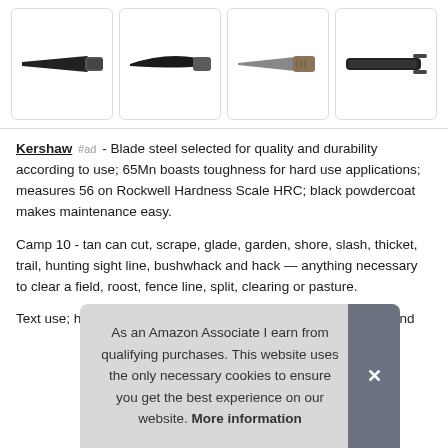[Figure (photo): Four knife product images in a horizontal gallery row, each in a bordered rounded cell. Knives shown from different angles: black blade with handle, curved blade, tan/green handled knife, and knife in sheath.]
Kershaw #ad - Blade steel selected for quality and durability according to use; 65Mn boasts toughness for hard use applications; measures 56 on Rockwell Hardness Scale HRC; black powdercoat makes maintenance easy.
Camp 10 - tan can cut, scrape, glade, garden, shore, slash, thicket, trail, hunting sight line, bushwhack and hack — anything necessary to clear a field, roost, fence line, split, clearing or pasture.
Text use; handle has guard at top and bottom to protect thumb and
As an Amazon Associate I earn from qualifying purchases. This website uses the only necessary cookies to ensure you get the best experience on our website. More information